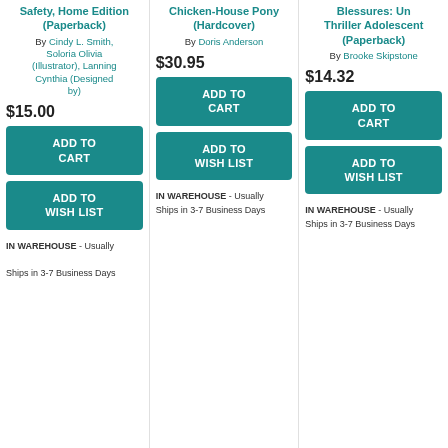Safety, Home Edition (Paperback) By Cindy L. Smith, Soloria Olivia (Illustrator), Lanning Cynthia (Designed by) $15.00 ADD TO CART ADD TO WISH LIST IN WAREHOUSE - Usually Ships in 3-7 Business Days
Chicken-House Pony (Hardcover) By Doris Anderson $30.95 ADD TO CART ADD TO WISH LIST IN WAREHOUSE - Usually Ships in 3-7 Business Days
Blessures: Un Thriller Adolescent (Paperback) By Brooke Skipstone $14.32 ADD TO CART ADD TO WISH LIST IN WAREHOUSE - Usually Ships in 3-7 Business Days
[Figure (photo): Book cover thumbnail: dark navy cover with WANT text and author Sarah Darer Littman]
[Figure (photo): Book cover thumbnail: purple/blue illustrated cover with text Donde Estan las Manos]
[Figure (photo): Book cover thumbnail: muted brown/grey atmospheric photo cover]